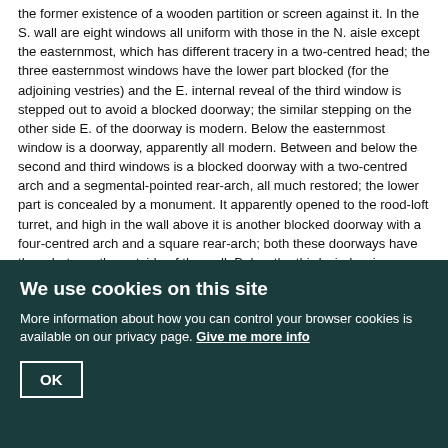the former existence of a wooden partition or screen against it. In the S. wall are eight windows all uniform with those in the N. aisle except the easternmost, which has different tracery in a two-centred head; the three easternmost windows have the lower part blocked (for the adjoining vestries) and the E. internal reveal of the third window is stepped out to avoid a blocked doorway; the similar stepping on the other side E. of the doorway is modern. Below the easternmost window is a doorway, apparently all modern. Between and below the second and third windows is a blocked doorway with a two-centred arch and a segmental-pointed rear-arch, all much restored; the lower part is concealed by a monument. It apparently opened to the rood-loft turret, and high in the wall above it is another blocked doorway with a four-centred arch and a square rear-arch; both these doorways have the rebate on the outside of the wall. Below the third window is a modern blocked doorway only visible in the vestry. In the W. wall is a window uniform with that at the W. end of the N. aisle.
The North Tower (14 ft. square) is of four stages, with octagonal projecting turrets at the angles and finished with pinnacles and an embattled parapet. The ground-stage is of early 16th-century date, but the rest of the tower was rebuilt in the 18th century. The ground-stage has, in the N. wall, a doorway all
We use cookies on this site
More information about how you can control your browser cookies is available on our privacy page. Give me more info
OK